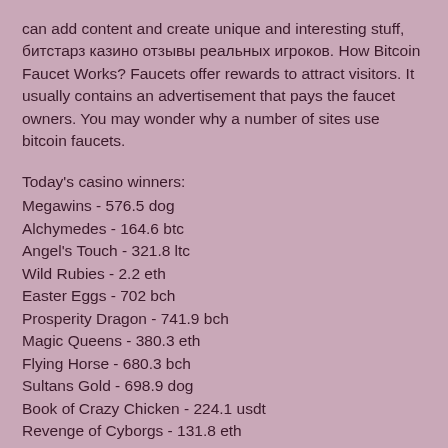can add content and create unique and interesting stuff, битстарз казино отзывы реальных игроков. How Bitcoin Faucet Works? Faucets offer rewards to attract visitors. It usually contains an advertisement that pays the faucet owners. You may wonder why a number of sites use bitcoin faucets.
Today's casino winners:
Megawins - 576.5 dog
Alchymedes - 164.6 btc
Angel's Touch - 321.8 ltc
Wild Rubies - 2.2 eth
Easter Eggs - 702 bch
Prosperity Dragon - 741.9 bch
Magic Queens - 380.3 eth
Flying Horse - 680.3 bch
Sultans Gold - 698.9 dog
Book of Crazy Chicken - 224.1 usdt
Revenge of Cyborgs - 131.8 eth